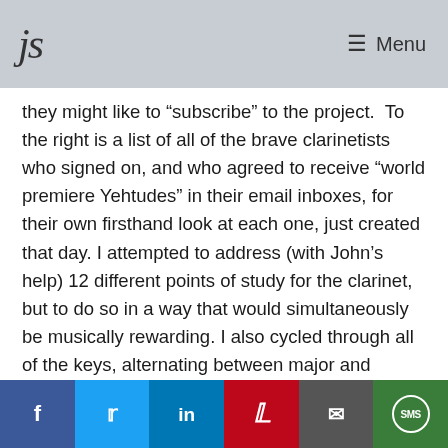js  Menu
they might like to “subscribe” to the project. To the right is a list of all of the brave clarinetists who signed on, and who agreed to receive “world premiere Yehtudes” in their email inboxes, for their own firsthand look at each one, just created that day. I attempted to address (with John’s help) 12 different points of study for the clarinet, but to do so in a way that would simultaneously be musically rewarding. I also cycled through all of the keys, alternating between major and minor, to try to capture as many musical possibilities as I could, within the brief 12-etude process.
f  t  in  p  [email]  SMS